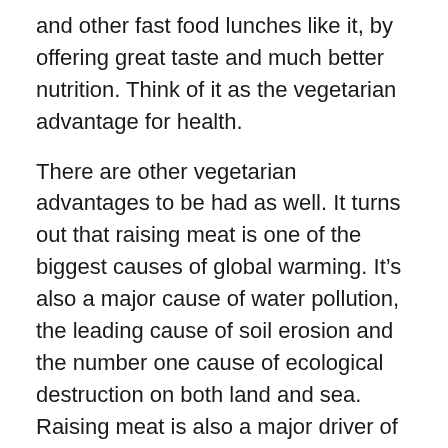and other fast food lunches like it, by offering great taste and much better nutrition. Think of it as the vegetarian advantage for health.
There are other vegetarian advantages to be had as well. It turns out that raising meat is one of the biggest causes of global warming. It’s also a major cause of water pollution, the leading cause of soil erosion and the number one cause of ecological destruction on both land and sea. Raising meat is also a major driver of global hunger since a dozen people could be fed a vegetarian meal for every person eating a meat-based one. And last, but not least given harsh conditions prevailing on today’s factory farms, a vegetarian diet is a more humane diet, lifting our humanity as we show compassion to innocent farm animals. Given all these advantages we hope you and the first lady will see that a vegetarian lunch deserves unanimous bipartisan